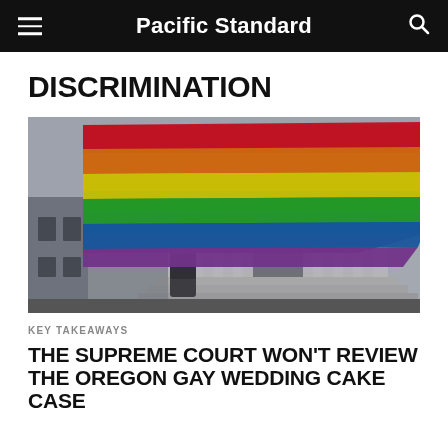Pacific Standard
DISCRIMINATION
[Figure (photo): A person waves a rainbow pride flag in front of the United States Supreme Court building. The sky is overcast and the neoclassical white marble building with columns is visible in the background.]
KEY TAKEAWAYS
THE SUPREME COURT WON'T REVIEW THE OREGON GAY WEDDING CAKE CASE